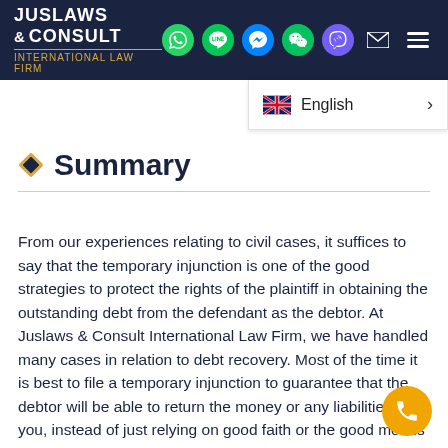JUSLAWS & CONSULT INTERNATIONAL LAW FIRM — header with navigation icons and language selector
Summary
From our experiences relating to civil cases, it suffices to say that the temporary injunction is one of the good strategies to protect the rights of the plaintiff in obtaining the outstanding debt from the defendant as the debtor. At Juslaws & Consult International Law Firm, we have handled many cases in relation to debt recovery. Most of the time it is best to file a temporary injunction to guarantee that the debtor will be able to return the money or any liabilities to you, instead of just relying on good faith or the good morals of another person. Consequently,